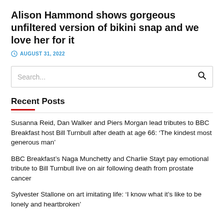Alison Hammond shows gorgeous unfiltered version of bikini snap and we love her for it
AUGUST 31, 2022
Search...
Recent Posts
Susanna Reid, Dan Walker and Piers Morgan lead tributes to BBC Breakfast host Bill Turnbull after death at age 66: ‘The kindest most generous man’
BBC Breakfast’s Naga Munchetty and Charlie Stayt pay emotional tribute to Bill Turnbull live on air following death from prostate cancer
Sylvester Stallone on art imitating life: ‘I know what it’s like to be lonely and heartbroken’